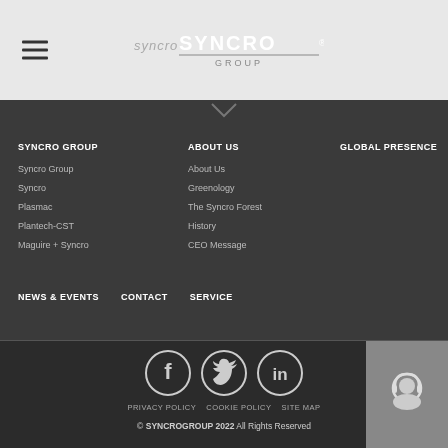[Figure (logo): Syncro Group logo with hamburger menu icon on the left]
SYNCRO GROUP
Syncro Group
Syncro
Plasmac
Plantech-CST
Maguire + Syncro
ABOUT US
About Us
Greenology
The Syncro Forest
History
CEO Message
GLOBAL PRESENCE
NEWS & EVENTS
CONTACT
SERVICE
[Figure (illustration): Social media icons: Facebook, Twitter, LinkedIn]
PRIVACY POLICY   COOKIE POLICY   SITE MAP
© SYNCROGROUP 2022 All Rights Reserved